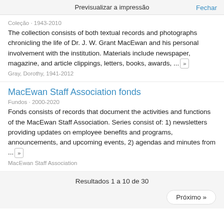Previsualizar a impressão
Coleção · 1943-2010
The collection consists of both textual records and photographs chronicling the life of Dr. J. W. Grant MacEwan and his personal involvement with the institution. Materials include newspaper, magazine, and article clippings, letters, books, awards, ... »
Gray, Dorothy, 1941-2012
MacEwan Staff Association fonds
Fundos · 2000-2020
Fonds consists of records that document the activities and functions of the MacEwan Staff Association. Series consist of: 1) newsletters providing updates on employee benefits and programs, announcements, and upcoming events, 2) agendas and minutes from ... »
MacEwan Staff Association
Resultados 1 a 10 de 30
Próximo »